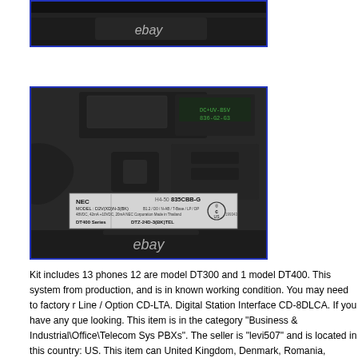[Figure (photo): Close-up photo of a dark/black device (phone or equipment bottom) with eBay watermark text, shown with blue border]
[Figure (photo): Photo of the bottom of an NEC DT400 Series telephone showing a compliance/model label reading: NEC, 835CBB-G, MODEL: D2V(XD)N-3(BK), DT400 Series, DTZ-24D-3(BK)TEL, with CSA certification mark. eBay watermark visible. Blue border.]
Kit includes 13 phones 12 are model DT300 and 1 model DT400. This system from production, and is in known working condition. You may need to factory r Line / Option CD-LTA. Digital Station Interface CD-8DLCA. If you have any que looking. This item is in the category "Business & Industrial\Office\Telecom Sys PBXs". The seller is “levi507” and is located in this country: US. This item can United Kingdom, Denmark, Romania, Slovakia, Bulgaria, Czech Republic, Fin Malta, Estonia, Australia, Greece, Portugal, Cyprus, Slovenia, Japan, Sweden